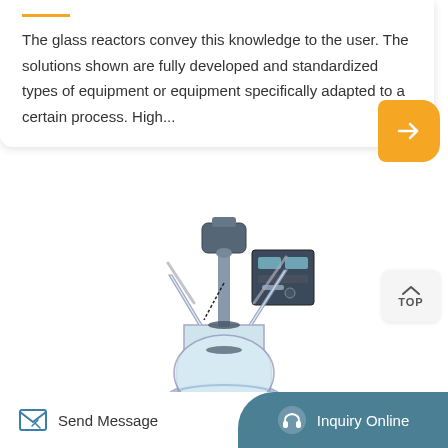The glass reactors convey this knowledge to the user. The solutions shown are fully developed and standardized types of equipment or equipment specifically adapted to a certain process. High...
[Figure (photo): Laboratory glass reactor with overhead stirrer motor, digital control unit/display panel mounted on stand, with multiple glass tubes and condensers attached to a round-bottom flask base]
Send Message
Inquiry Online